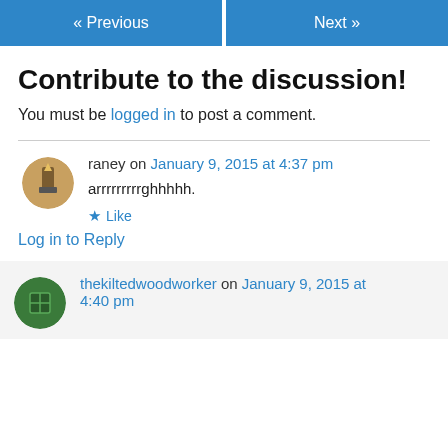« Previous    Next »
Contribute to the discussion!
You must be logged in to post a comment.
raney on January 9, 2015 at 4:37 pm
arrrrrrrrrghhhhh.
★ Like
Log in to Reply
thekiltedwoodworker on January 9, 2015 at 4:40 pm